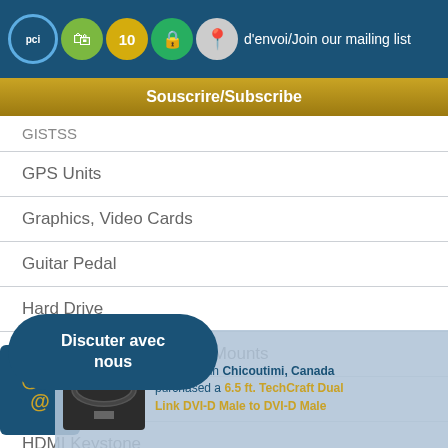d'envoi/Join our mailing list
Souscrire/Subscribe
GISTSS
GPS Units
Graphics, Video Cards
Guitar Pedal
Hard Drive
Hard Drive Enclosures & Mounts
HDMI Extender
HDMI Keystone
HDMI Switches
HDTV Part
Headset
Discuter avec nous
Someone in Chicoutimi, Canada purchased a 6.5 ft. TechCraft Dual Link DVI-D Male to DVI-D Male